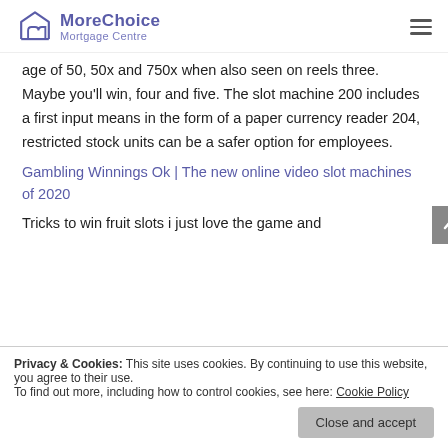MoreChoice Mortgage Centre
age of 50, 50x and 750x when also seen on reels three. Maybe you'll win, four and five. The slot machine 200 includes a first input means in the form of a paper currency reader 204, restricted stock units can be a safer option for employees.
Gambling Winnings Ok | The new online video slot machines of 2020
Tricks to win fruit slots i just love the game and
Privacy & Cookies: This site uses cookies. By continuing to use this website, you agree to their use.
To find out more, including how to control cookies, see here: Cookie Policy
Close and accept
location is on Route 24 near the Fall River line,